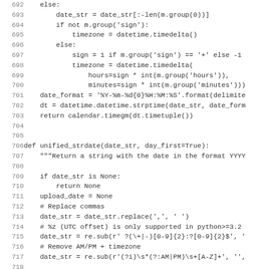[Figure (screenshot): Source code listing in monospace font showing Python code lines 692-723, with line numbers on the left and code on the right. The code includes an else block handling date string parsing with timezone handling, a date_format assignment, datetime strptime call, return statement, a unified_strdate function definition with docstring, and format_expressions list.]